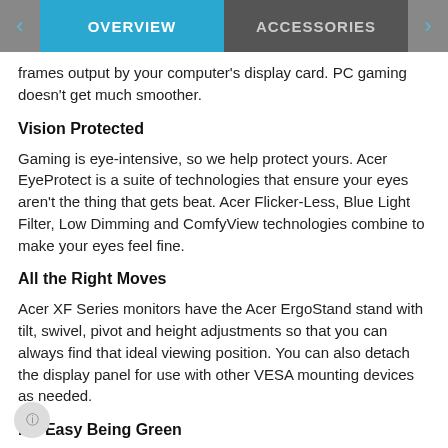OVERVIEW | ACCESSORIES
frames output by your computer's display card. PC gaming doesn't get much smoother.
Vision Protected
Gaming is eye-intensive, so we help protect yours. Acer EyeProtect is a suite of technologies that ensure your eyes aren't the thing that gets beat. Acer Flicker-Less, Blue Light Filter, Low Dimming and ComfyView technologies combine to make your eyes feel fine.
All the Right Moves
Acer XF Series monitors have the Acer ErgoStand stand with tilt, swivel, pivot and height adjustments so that you can always find that ideal viewing position. You can also detach the display panel for use with other VESA mounting devices as needed.
It's Easy Being Green
The entire XF line also has multiple green design certifications that attest to our commitment to